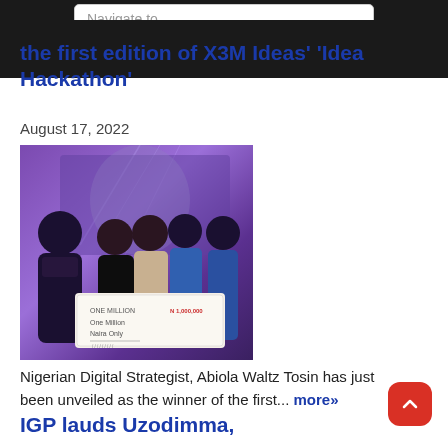Navigate to...
the first edition of X3M Ideas' 'Idea Hackathon'
August 17, 2022
[Figure (photo): Group of people at an event holding a large ceremonial cheque reading 'One Million Naira Only' at what appears to be the X3M Ideas Idea Hackathon event, with purple stage lighting in the background.]
Nigerian Digital Strategist, Abiola Waltz Tosin has just been unveiled as the winner of the first... more»
IGP lauds Uzodimma,